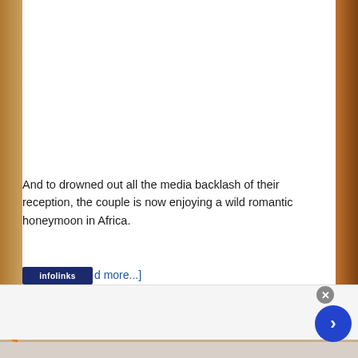[Figure (photo): Background bokeh photo with warm orange/brown tones on left and right sides, white content area in center]
And to drowned out all the media backlash of their reception, the couple is now enjoying a wild romantic honeymoon in Africa.
[read more...]
[Figure (screenshot): Advertisement banner: Belk.com - Belk® - Official Site. Shop for clothing, handbags, jewelry, beauty, home & more! www.belk.com. With mini ads on left showing UP TO 25% OFF and UP TO 65%, a product thumbnail image, and a blue circular CTA button with chevron.]